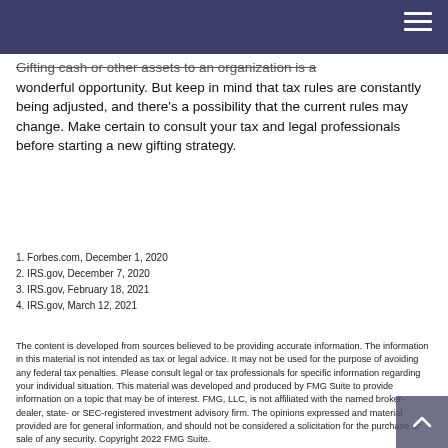Gifting cash or other assets to an organization is a wonderful opportunity. But keep in mind that tax rules are constantly being adjusted, and there's a possibility that the current rules may change. Make certain to consult your tax and legal professionals before starting a new gifting strategy.
1. Forbes.com, December 1, 2020
2. IRS.gov, December 7, 2020
3. IRS.gov, February 18, 2021
4. IRS.gov, March 12, 2021
The content is developed from sources believed to be providing accurate information. The information in this material is not intended as tax or legal advice. It may not be used for the purpose of avoiding any federal tax penalties. Please consult legal or tax professionals for specific information regarding your individual situation. This material was developed and produced by FMG Suite to provide information on a topic that may be of interest. FMG, LLC, is not affiliated with the named broker-dealer, state- or SEC-registered investment advisory firm. The opinions expressed and material provided are for general information, and should not be considered a solicitation for the purchase or sale of any security. Copyright 2022 FMG Suite.